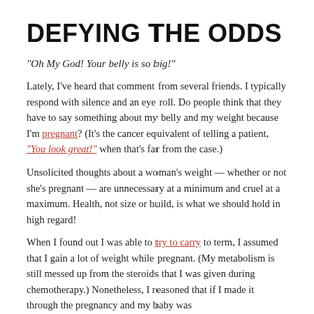DEFYING THE ODDS
“Oh My God! Your belly is so big!”
Lately, I’ve heard that comment from several friends. I typically respond with silence and an eye roll. Do people think that they have to say something about my belly and my weight because I’m pregnant? (It’s the cancer equivalent of telling a patient, “You look great!” when that’s far from the case.)
Unsolicited thoughts about a woman’s weight — whether or not she’s pregnant — are unnecessary at a minimum and cruel at a maximum. Health, not size or build, is what we should hold in high regard!
When I found out I was able to try to carry to term, I assumed that I gain a lot of weight while pregnant. (My metabolism is still messed up from the steroids that I was given during chemotherapy.) Nonetheless, I reasoned that if I made it through the pregnancy and my baby was